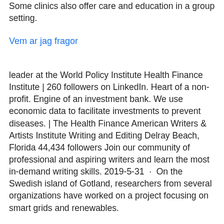Some clinics also offer care and education in a group setting.
Vem ar jag fragor
leader at the World Policy Institute Health Finance Institute | 260 followers on LinkedIn. Heart of a non-profit. Engine of an investment bank. We use economic data to facilitate investments to prevent diseases. | The Health Finance American Writers & Artists Institute Writing and Editing Delray Beach, Florida 44,434 followers Join our community of professional and aspiring writers and learn the most in-demand writing skills. 2019-5-31  ·  On the Swedish island of Gotland, researchers from several organizations have worked on a project focusing on smart grids and renewables.